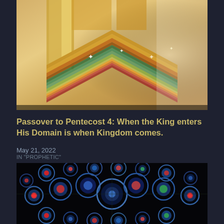[Figure (illustration): Colorful golden and rainbow-layered architectural structure resembling stacked golden books or a heavenly building with sparkles and mist, viewed from below at an angle.]
Passover to Pentecost 4: When the King enters His Domain is when Kingdom comes.
May 21, 2022
IN "PROPHETIC"
[Figure (photo): Stained glass rose window, likely from a Gothic cathedral, with intricate circular patterns of colorful glass in blue, red, green, and white, depicting religious figures and ornate geometric designs.]